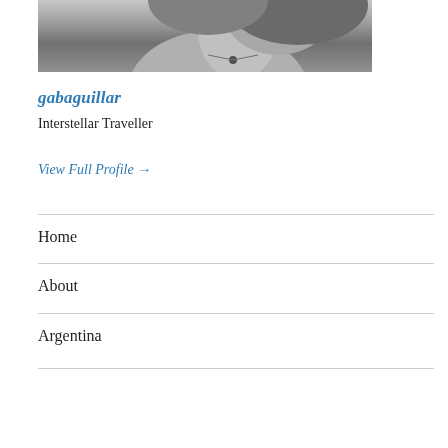[Figure (photo): Black and white photo of a woman, cropped at the top]
gabaguillar
Interstellar Traveller
View Full Profile →
Home
About
Argentina